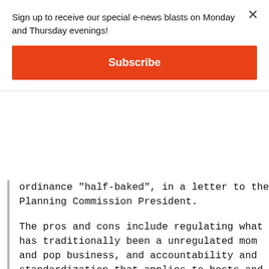Sign up to receive our special e-news blasts on Monday and Thursday evenings!
Subscribe
ordinance "half-baked", in a letter to the Planning Commission President.
The pros and cons include regulating what has traditionally been a unregulated mom and pop business, and accountability and standardization that applies to hosts and “platforms” -- tech-speak for online websites where you can advertise your property if you are a "host" or find lodging if you are a "guest."